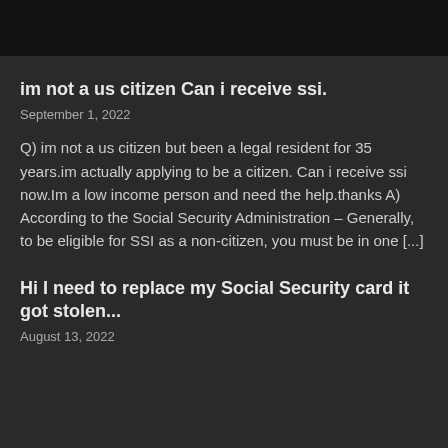im not a us citizen Can i receive ssi.
September 1, 2022
Q) im not a us citizen but been a legal resident for 35 years.im actually applying to be a citizen. Can i receive ssi now.Im a low income person and need the help.thanks A) According to the Social Security Administration – Generally, to be eligible for SSI as a non-citizen, you must be in one [...]
Hi I need to replace my Social Security card it got stolen...
August 13, 2022